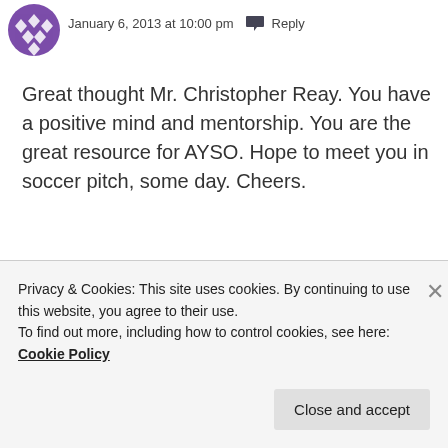[Figure (illustration): Purple circular avatar with diamond/cross pattern]
January 6, 2013 at 10:00 pm  Reply
Great thought Mr. Christopher Reay. You have a positive mind and mentorship. You are the great resource for AYSO. Hope to meet you in soccer pitch, some day. Cheers.
★ Like
Privacy & Cookies: This site uses cookies. By continuing to use this website, you agree to their use.
To find out more, including how to control cookies, see here: Cookie Policy
Close and accept